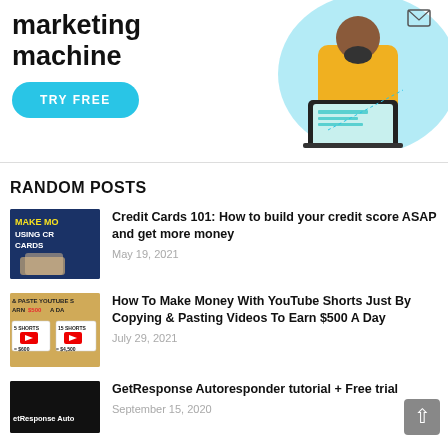[Figure (illustration): Advertisement banner showing text 'marketing machine' with a TRY FREE button in cyan/blue and a person in yellow sweater holding a laptop on the right side]
RANDOM POSTS
[Figure (photo): Thumbnail for credit cards post showing dark blue background with yellow text 'MAKE MO... USING CR... CARDS' and a hand holding credit cards]
Credit Cards 101: How to build your credit score ASAP and get more money
May 19, 2021
[Figure (photo): Thumbnail for YouTube Shorts post with text '& PASTE YOUTUBE S ARN $500 A DA' and YouTube logo boxes showing 5 SHORTS=$600 and 15 SHORTS=$4,500]
How To Make Money With YouTube Shorts Just By Copying & Pasting Videos To Earn $500 A Day
July 29, 2021
[Figure (photo): Thumbnail for GetResponse post with dark background and text 'etResponse Auto']
GetResponse Autoresponder tutorial + Free trial
September 15, 2020